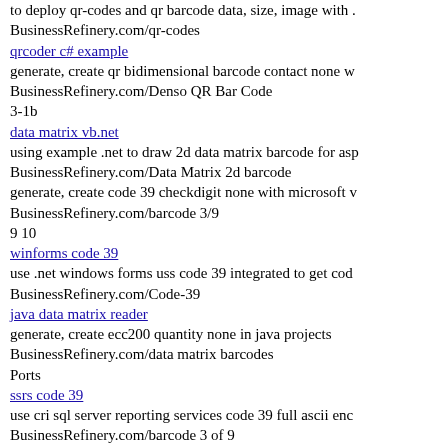to deploy qr-codes and qr barcode data, size, image with . BusinessRefinery.com/qr-codes
qrcoder c# example
generate, create qr bidimensional barcode contact none w BusinessRefinery.com/Denso QR Bar Code
3-1b
data matrix vb.net
using example .net to draw 2d data matrix barcode for asp BusinessRefinery.com/Data Matrix 2d barcode
generate, create code 39 checkdigit none with microsoft v BusinessRefinery.com/barcode 3/9
9 10
winforms code 39
use .net windows forms uss code 39 integrated to get cod BusinessRefinery.com/Code-39
java data matrix reader
generate, create ecc200 quantity none in java projects BusinessRefinery.com/data matrix barcodes
Ports
ssrs code 39
use cri sql server reporting services code 39 full ascii enc BusinessRefinery.com/barcode 3 of 9
rdlc barcode 128
generate, create code 128 gif none with .net projects BusinessRefinery.com/barcode standards 128